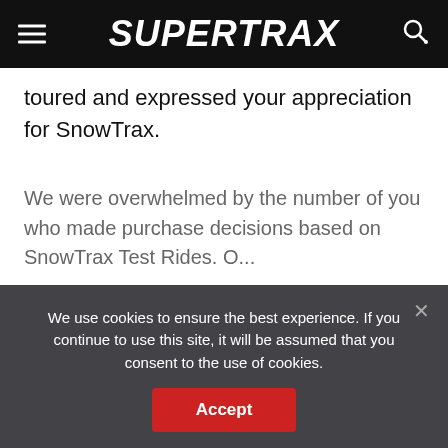SUPERTRAX
toured and expressed your appreciation for SnowTrax.
We were overwhelmed by the number of you who made purchase decisions based on SnowTrax Test Rides. O...
We use cookies to ensure the best experience. If you continue to use this site, it will be assumed that you consent to the use of cookies.